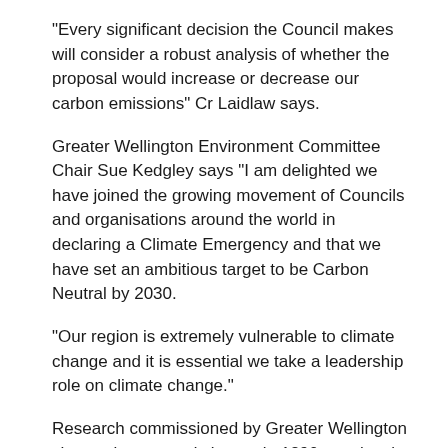"Every significant decision the Council makes will consider a robust analysis of whether the proposal would increase or decrease our carbon emissions" Cr Laidlaw says.
Greater Wellington Environment Committee Chair Sue Kedgley says "I am delighted we have joined the growing movement of Councils and organisations around the world in declaring a Climate Emergency and that we have set an ambitious target to be Carbon Neutral by 2030.
"Our region is extremely vulnerable to climate change and it is essential we take a leadership role on climate change."
Research commissioned by Greater Wellington shows since records began in 1890, sea levels have risen nearly 30 centimetres in this region which represents over 30 per cent of the tidal range.